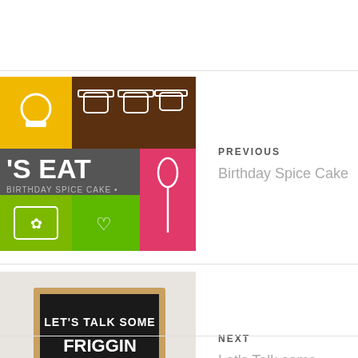[Figure (photo): Colorful kitchen/food themed graphic with colored tiles showing pots, spoons, and text 'S EAT BIRTHDAY SPICE CAKE']
PREVIOUS
Birthday Spice Cake
[Figure (photo): A chalkboard sign on a wooden easel reading 'LET'S TALK SOME FRIGGIN PLANTS!']
NEXT
Let's Talk some Friggin Plants!